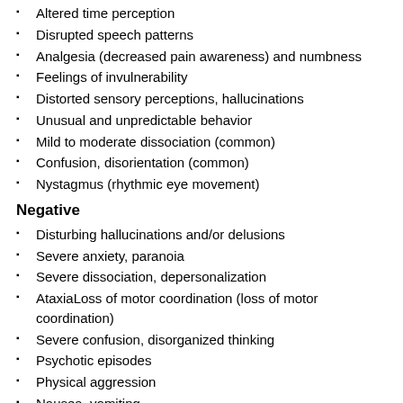Altered time perception
Disrupted speech patterns
Analgesia (decreased pain awareness) and numbness
Feelings of invulnerability
Distorted sensory perceptions, hallucinations
Unusual and unpredictable behavior
Mild to moderate dissociation (common)
Confusion, disorientation (common)
Nystagmus (rhythmic eye movement)
Negative
Disturbing hallucinations and/or delusions
Severe anxiety, paranoia
Severe dissociation, depersonalization
AtaxiaLoss of motor coordination (loss of motor coordination)
Severe confusion, disorganized thinking
Psychotic episodes
Physical aggression
Nausea, vomiting
Temporary amnesia